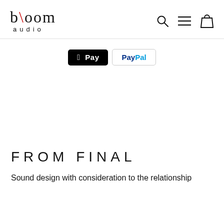bloom audio
[Figure (logo): bloom audio logo with stylized backslash in red, search icon, hamburger menu icon, and shopping bag icon]
[Figure (screenshot): Payment options row showing Apple Pay black button and PayPal button with border]
FROM FINAL
Sound design with consideration to the relationship